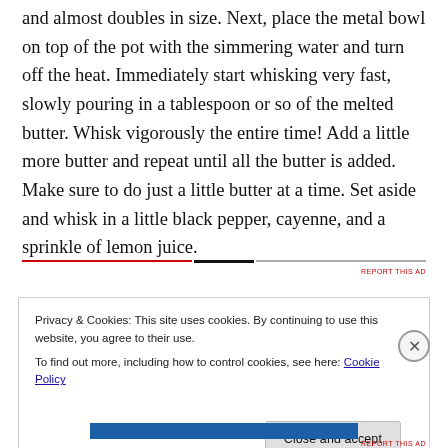and almost doubles in size. Next, place the metal bowl on top of the pot with the simmering water and turn off the heat. Immediately start whisking very fast, slowly pouring in a tablespoon or so of the melted butter. Whisk vigorously the entire time! Add a little more butter and repeat until all the butter is added. Make sure to do just a little butter at a time. Set aside and whisk in a little black pepper, cayenne, and a sprinkle of lemon juice.
Privacy & Cookies: This site uses cookies. By continuing to use this website, you agree to their use. To find out more, including how to control cookies, see here: Cookie Policy